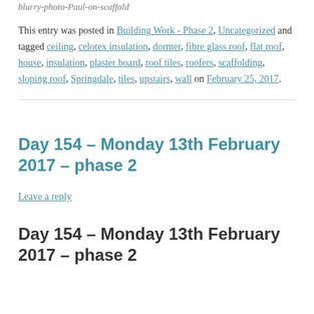blurry-photo-Paul-on-scaffold
This entry was posted in Building Work - Phase 2, Uncategorized and tagged ceiling, celotex insulation, dormer, fibre glass roof, flat roof, house, insulation, plaster board, roof tiles, roofers, scaffolding, sloping roof, Springdale, tiles, upstairs, wall on February 25, 2017.
Day 154 – Monday 13th February 2017 – phase 2
Leave a reply
Day 154 – Monday 13th February 2017 – phase 2